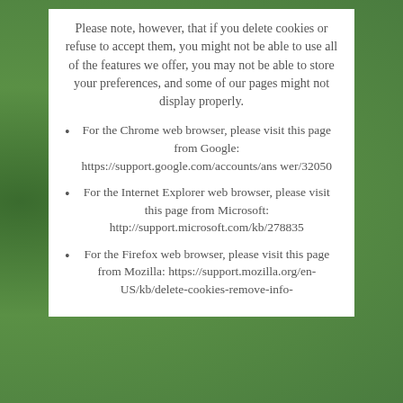Please note, however, that if you delete cookies or refuse to accept them, you might not be able to use all of the features we offer, you may not be able to store your preferences, and some of our pages might not display properly.
For the Chrome web browser, please visit this page from Google: https://support.google.com/accounts/answer/32050
For the Internet Explorer web browser, please visit this page from Microsoft: http://support.microsoft.com/kb/278835
For the Firefox web browser, please visit this page from Mozilla: https://support.mozilla.org/en-US/kb/delete-cookies-remove-info-